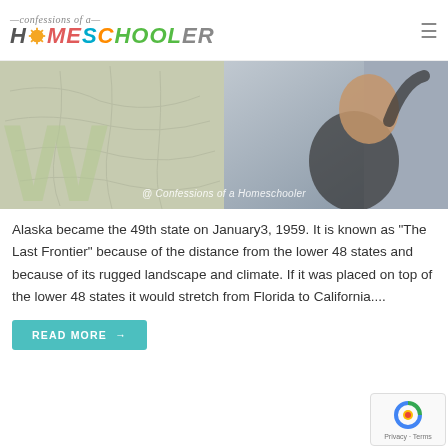confessions of a HOMESCHOOLER
[Figure (photo): A child pointing at a world map on the wall, split image showing map on left and boy smiling on right. Watermark reads '@ Confessions of a Homeschooler']
Alaska became the 49th state on January3, 1959. It is known as “The Last Frontier” because of the distance from the lower 48 states and because of its rugged landscape and climate. If it was placed on top of the lower 48 states it would stretch from Florida to California....
READ MORE →